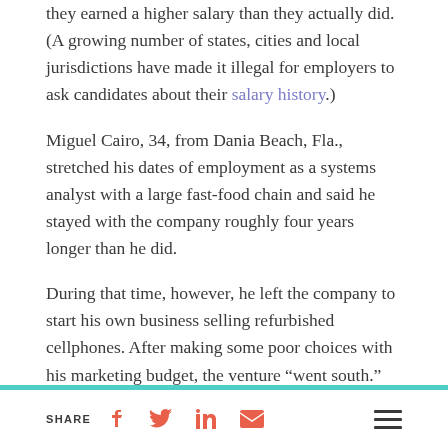they earned a higher salary than they actually did. (A growing number of states, cities and local jurisdictions have made it illegal for employers to ask candidates about their salary history.)
Miguel Cairo, 34, from Dania Beach, Fla., stretched his dates of employment as a systems analyst with a large fast-food chain and said he stayed with the company roughly four years longer than he did.
During that time, however, he left the company to start his own business selling refurbished cellphones. After making some poor choices with his marketing budget, the venture "went south."
SHARE